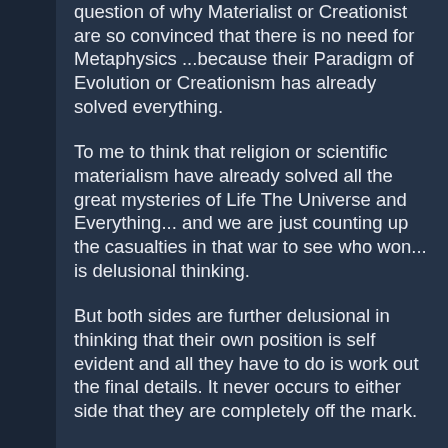question of why Materialist or Creationist are so convinced that there is no need for Metaphysics ...because their Paradigm of Evolution or Creationism has already solved everything.
To me to think that religion or scientific materialism have already solved all the great mysteries of Life The Universe and Everything... and we are just counting up the casualties in that war to see who won... is delusional thinking.
But both sides are further delusional in thinking that their own position is self evident and all they have to do is work out the final details. It never occurs to either side that they are completely off the mark.
Edited by Spiritual Anarchist, 01-30-2013 12:29 AM: typos missing point needed to be added
Edited by Spiritual Anarchist, 01-30-2013 12:38 AM: Wanted to provide suggested reading outside what I can offer